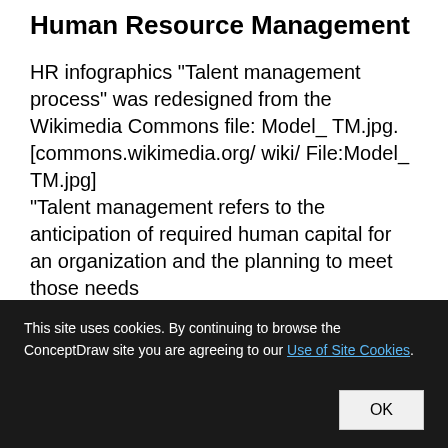Human Resource Management
HR infographics "Talent management process" was redesigned from the Wikimedia Commons file: Model_ TM.jpg. [commons.wikimedia.org/ wiki/ File:Model_ TM.jpg]
"Talent management refers to the anticipation of required human capital for an organization and the planning to meet those needs
This site uses cookies. By continuing to browse the ConceptDraw site you are agreeing to our Use of Site Cookies.